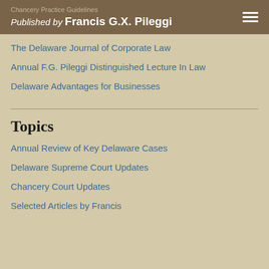Chancery Practice Guidelines
Published by Francis G.X. Pileggi
The Delaware Journal of Corporate Law
Annual F.G. Pileggi Distinguished Lecture In Law
Delaware Advantages for Businesses
Topics
Annual Review of Key Delaware Cases
Delaware Supreme Court Updates
Chancery Court Updates
Selected Articles by Francis